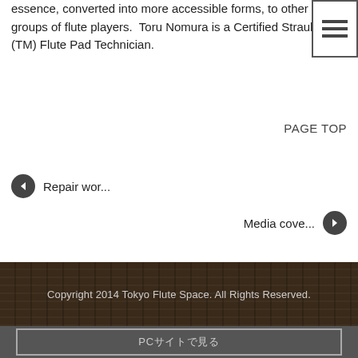essence, converted into more accessible forms, to other groups of flute players.  Toru Nomura is a Certified Straubinger (TM) Flute Pad Technician.
[Figure (other): Hamburger menu icon - three horizontal lines in a bordered box]
PAGE TOP
◀ Repair wor...
Media cove... ▶
Copyright 2014 Tokyo Flute Space. All Rights Reserved.
PCサイトで見る